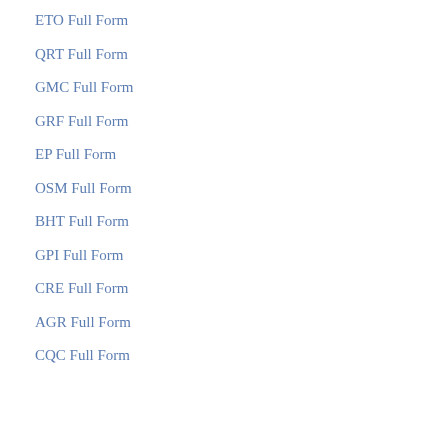ETO Full Form
QRT Full Form
GMC Full Form
GRF Full Form
EP Full Form
OSM Full Form
BHT Full Form
GPI Full Form
CRE Full Form
AGR Full Form
CQC Full Form